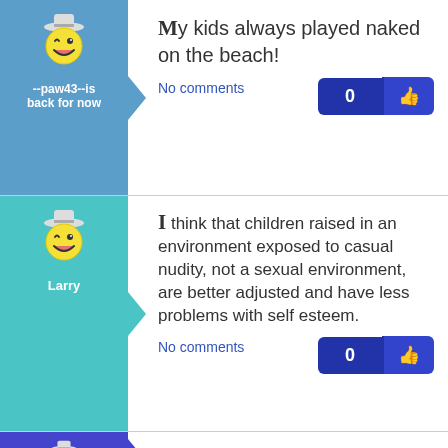[Figure (illustration): Cartoon winking face avatar with hat on blue background]
--paw43--is back for now
My kids always played naked on the beach!
No comments
[Figure (illustration): Cartoon winking face avatar with hat on teal background]
Larry
I think that children raised in an environment exposed to casual nudity, not a sexual environment, are better adjusted and have less problems with self esteem.
No comments
[Figure (illustration): Cartoon winking face avatar with hat on dark blue background]
There is positivly nothing